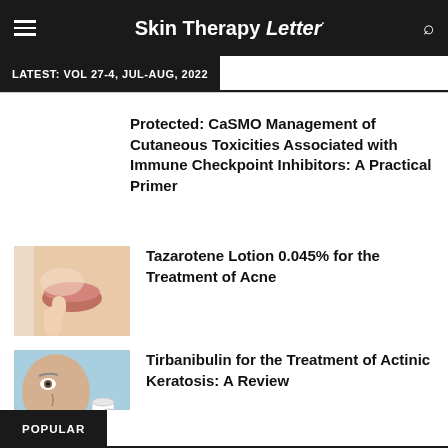Skin Therapy Letter
LATEST: VOL 27-4, JUL-AUG, 2022
Protected: CaSMO Management of Cutaneous Toxicities Associated with Immune Checkpoint Inhibitors: A Practical Primer
[Figure (photo): Close-up of a person touching their face near chin and mouth area]
Tazarotene Lotion 0.045% for the Treatment of Acne
[Figure (photo): Close-up of an older man's face with white cream jars in the background]
Tirbanibulin for the Treatment of Actinic Keratosis: A Review
POPULAR